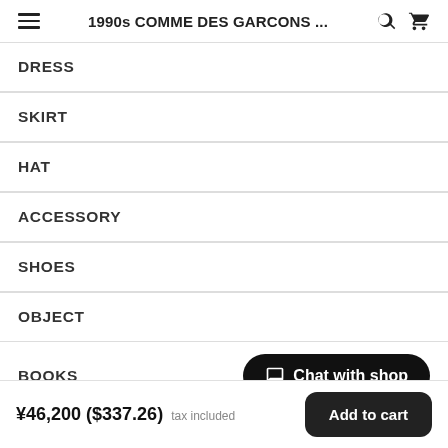1990s COMME DES GARCONS ...
DRESS
SKIRT
HAT
ACCESSORY
SHOES
OBJECT
BOOKS
¥46,200 ($337.26) tax included    Add to cart